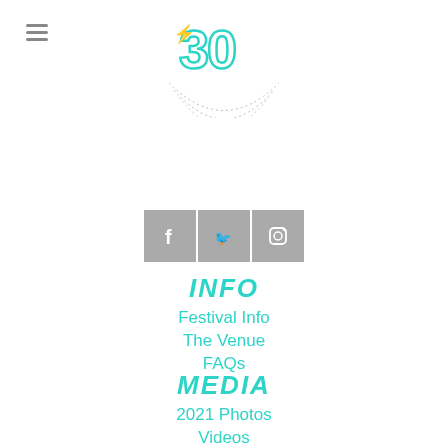[Figure (logo): Festival 30th anniversary logo with teal '30' numeral and dotted arc below]
[Figure (infographic): Three social media icon boxes (Facebook, Twitter, Instagram) in gray square tiles]
INFO
Festival Info
The Venue
FAQs
MEDIA
2021 Photos
Videos
Media Request